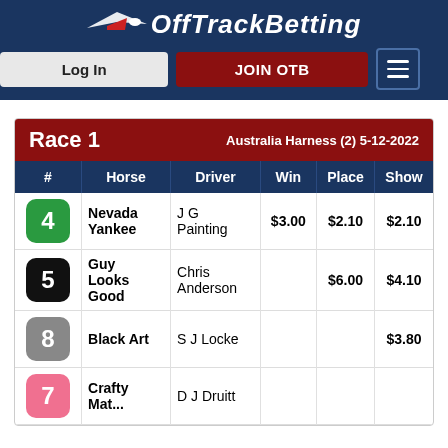OffTrackBetting — Log In | JOIN OTB
| # | Horse | Driver | Win | Place | Show |
| --- | --- | --- | --- | --- | --- |
| 4 | Nevada Yankee | J G Painting | $3.00 | $2.10 | $2.10 |
| 5 | Guy Looks Good | Chris Anderson |  | $6.00 | $4.10 |
| 8 | Black Art | S J Locke |  |  | $3.80 |
| 7 | Crafty Match | D J Druitt |  |  |  |